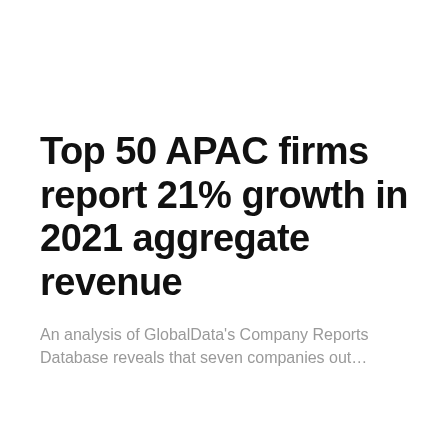Top 50 APAC firms report 21% growth in 2021 aggregate revenue
An analysis of GlobalData's Company Reports Database reveals that seven companies out...